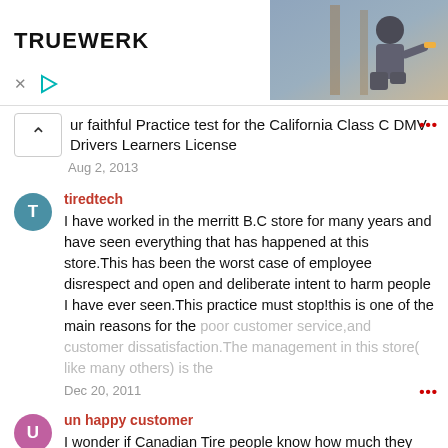[Figure (photo): Advertisement banner for TRUEWERK with logo on left and photo of a man working outdoors on the right]
ur faithful Practice test for the California Class C DMV Drivers Learners License
Aug 2, 2013
tiredtech
I have worked in the merritt B.C store for many years and have seen everything that has happened at this store.This has been the worst case of employee disrespect and open and deliberate intent to harm people I have ever seen.This practice must stop!this is one of the main reasons for the poor customer service,and customer dissatisfaction.The management in this store( like many others) is the
Dec 20, 2011
un happy customer
I wonder if Canadian Tire people know how much they suck! They make the worst small stores return policy a pleasure, compare to their awful service! With their crabby policy: they keep referring more and more customers to